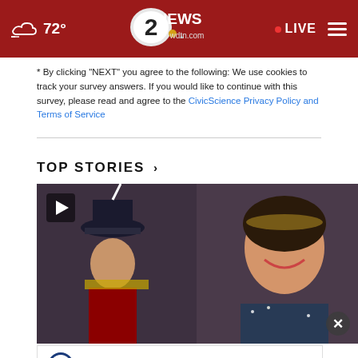[Figure (screenshot): WDTN 2 News website header with dark red background, cloud/temperature icon showing 72°, NBC 2 NEWS wdtn.com logo in center, LIVE indicator and hamburger menu on right]
* By clicking "NEXT" you agree to the following: We use cookies to track your survey answers. If you would like to continue with this survey, please read and agree to the CivicScience Privacy Policy and Terms of Service
TOP STORIES ›
[Figure (photo): Marching band performer in dark uniform with hat on left, smiling young woman with sparkling costume on right, crowd in background]
[Figure (photo): Advertisement banner: Learn about the VA benefits YOU'VE earned - more > button, with Greene County Veterans Services logo]